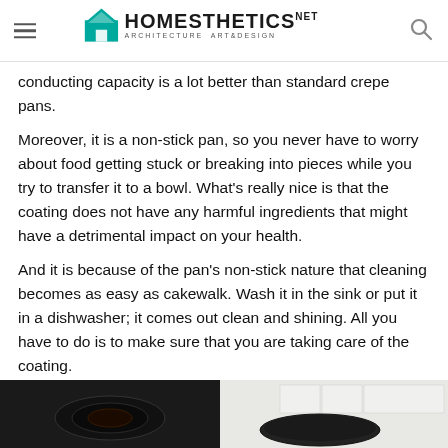Homesthetics — Architecture Art&Design
conducting capacity is a lot better than standard crepe pans.
Moreover, it is a non-stick pan, so you never have to worry about food getting stuck or breaking into pieces while you try to transfer it to a bowl. What's really nice is that the coating does not have any harmful ingredients that might have a detrimental impact on your health.
And it is because of the pan's non-stick nature that cleaning becomes as easy as cakewalk. Wash it in the sink or put it in a dishwasher; it comes out clean and shining. All you have to do is to make sure that you are taking care of the coating.
[Figure (photo): Photo of a crepe pan on a stove burner and another kitchen scene]